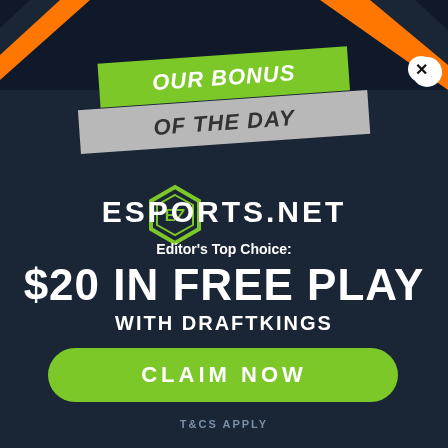[Figure (illustration): Promotional ad banner with dark navy background, orange geometric decorative triangles in top corners, green and silver diagonal ribbon banners reading OUR BONUS OF THE DAY, Esports.net logo with hexagon icon]
OUR BONUS OF THE DAY
ESPORTS.NET
Editor's Top Choice:
$20 IN FREE PLAY
WITH DRAFTKINGS
CLAIM NOW
T&CS APPLY